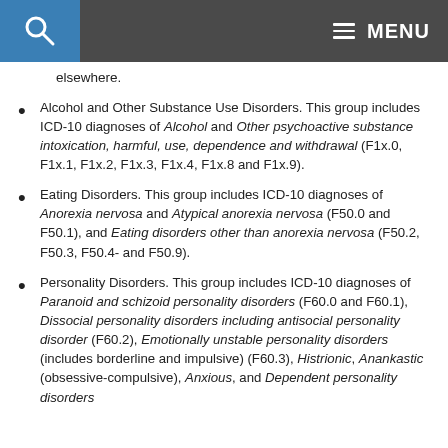MENU
elsewhere.
Alcohol and Other Substance Use Disorders. This group includes ICD-10 diagnoses of Alcohol and Other psychoactive substance intoxication, harmful, use, dependence and withdrawal (F1x.0, F1x.1, F1x.2, F1x.3, F1x.4, F1x.8 and F1x.9).
Eating Disorders. This group includes ICD-10 diagnoses of Anorexia nervosa and Atypical anorexia nervosa (F50.0 and F50.1), and Eating disorders other than anorexia nervosa (F50.2, F50.3, F50.4- and F50.9).
Personality Disorders. This group includes ICD-10 diagnoses of Paranoid and schizoid personality disorders (F60.0 and F60.1), Dissocial personality disorders including antisocial personality disorder (F60.2), Emotionally unstable personality disorders (includes borderline and impulsive) (F60.3), Histrionic, Anankastic (obsessive-compulsive), Anxious, and Dependent personality disorders